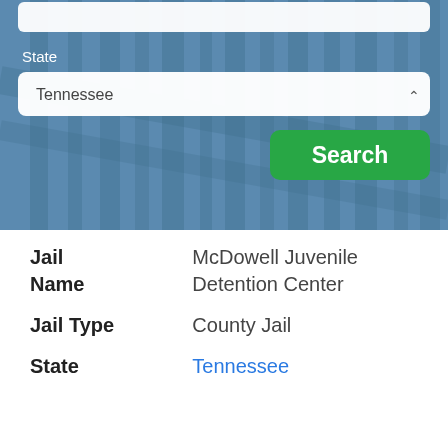[Figure (screenshot): Search form with blue prison bars background. Shows a text input at top (partially visible), a State label, a dropdown select showing 'Tennessee' with a chevron arrow, and a green 'Search' button.]
| Field | Value |
| --- | --- |
| Jail Name | McDowell Juvenile Detention Center |
| Jail Type | County Jail |
| State | Tennessee |